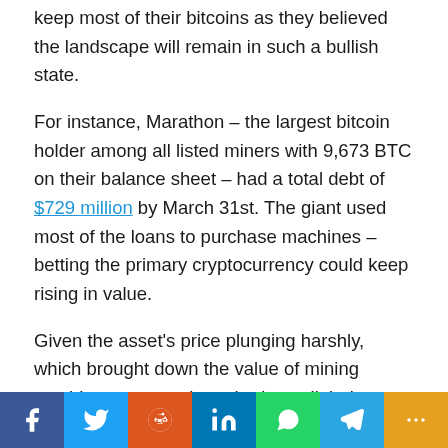keep most of their bitcoins as they believed the landscape will remain in such a bullish state.
For instance, Marathon – the largest bitcoin holder among all listed miners with 9,673 BTC on their balance sheet – had a total debt of $729 million by March 31st. The giant used most of the loans to purchase machines – betting the primary cryptocurrency could keep rising in value.
Given the asset's price plunging harshly, which brought down the value of mining machines, many miners had to sell their monthly output in order to pay off their debts and cover operational expenses. Companies running out of dry powders may even
[Figure (other): Social media sharing bar with buttons for Facebook, Twitter, Reddit, LinkedIn, WhatsApp, Telegram, and More]